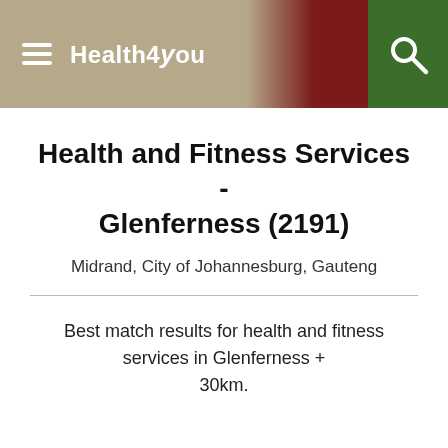Health4You
Health and Fitness Services - Glenferness (2191)
Midrand, City of Johannesburg, Gauteng
Best match results for health and fitness services in Glenferness + 30km.